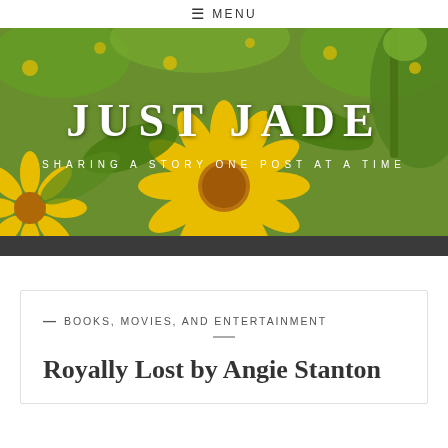≡ MENU
[Figure (photo): Blog header banner showing yellow flowers (daisies/calendula) with green foliage background. Overlaid text reads 'JUST JADE' in large white serif letters and 'SHARING A STORY ONE POST AT A TIME' in smaller white spaced letters below.]
— BOOKS, MOVIES, AND ENTERTAINMENT
Royally Lost by Angie Stanton